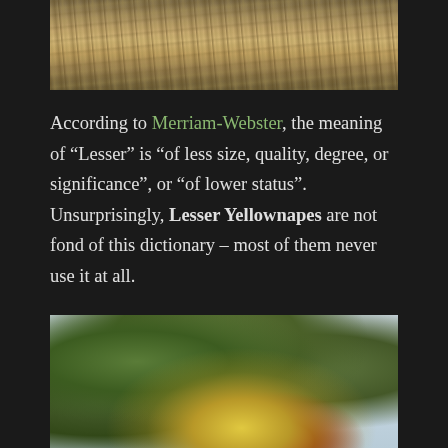[Figure (photo): Close-up photo of tree bark texture showing rough, grooved wood surface in tan and brown tones]
According to Merriam-Webster, the meaning of “Lesser” is “of less size, quality, degree, or significance”, or “of lower status”. Unsurprisingly, Lesser Yellownapes are not fond of this dictionary – most of them never use it at all.
[Figure (photo): Photo of a Lesser Yellownape woodpecker bird with red crest and yellow nape, perched among green leaves against a light blue sky background]